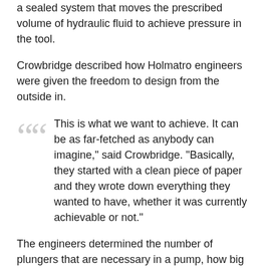a sealed system that moves the prescribed volume of hydraulic fluid to achieve pressure in the tool.
Crowbridge described how Holmatro engineers were given the freedom to design from the outside in.
"This is what we want to achieve. It can be as far-fetched as anybody can imagine," said Crowbridge. "Basically, they started with a clean piece of paper and they wrote down everything they wanted to have, whether it was currently achievable or not."
The engineers determined the number of plungers that are necessary in a pump, how big or how small they needed to be to get the flow and pressure needed for optimal tool operation. This resulted in a much smaller and lighter pump. "In addition, our engineers found a way to integrate the motor and pump, which allows for a slimmer and more compact